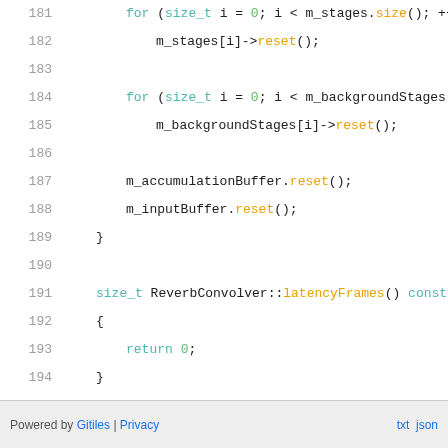[Figure (screenshot): Source code viewer showing C++ code lines 181-198 of a ReverbConvolver implementation. Lines include for loops, reset calls, latencyFrames function, and preprocessor directives. Syntax highlighted with teal keywords, orange function names, green comments, red preprocessor.]
Powered by Gitiles | Privacy    txt  json